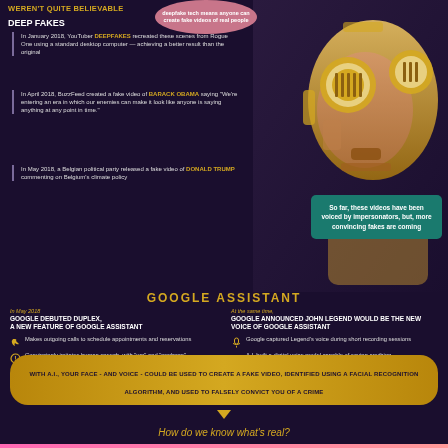WEREN'T QUITE BELIEVABLE
DEEP FAKES
In January 2018, YouTuber DEEPFAKES recreated these scenes from Rogue One using a standard desktop computer — achieving a better result than the original
In April 2018, BuzzFeed created a fake video of BARACK OBAMA saying "We're entering an era in which our enemies can make it look like anyone is saying anything at any point in time."
In May 2018, a Belgian political party released a fake video of DONALD TRUMP commenting on Belgium's climate policy
So far, these videos have been voiced by impersonators, but, more convincing fakes are coming
GOOGLE ASSISTANT
In May 2018
GOOGLE DEBUTED DUPLEX, A NEW FEATURE OF GOOGLE ASSISTANT
Makes outgoing calls to schedule appointments and reservations
Convincingly imitates human speech, with "um" and "mmhmm"
At the same time,
GOOGLE ANNOUNCED JOHN LEGEND WOULD BE THE NEW VOICE OF GOOGLE ASSISTANT
Google captured Legend's voice during short recording sessions
A.I. built a digital voice model capable of saying anything
WITH A.I., YOUR FACE - AND VOICE - COULD BE USED TO CREATE A FAKE VIDEO, IDENTIFIED USING A FACIAL RECOGNITION ALGORITHM, AND USED TO FALSELY CONVICT YOU OF A CRIME
How do we know what's real?